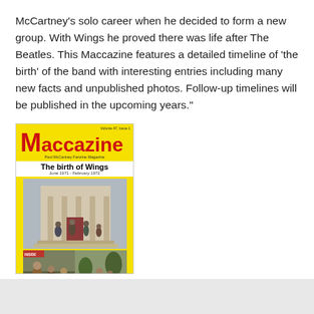McCartney's solo career when he decided to form a new group. With Wings he proved there was life after The Beatles. This Maccazine features a detailed timeline of 'the birth' of the band with interesting entries including many new facts and unpublished photos. Follow-up timelines will be published in the upcoming years."
[Figure (illustration): Cover of Maccazine magazine: yellow background, red 'Maccazine' logo, subtitle 'Paul McCartney Fanzine Magazine', feature title 'The birth of Wings, June 1971 - February 1972', with photos of people outside a building and outdoor scenes.]